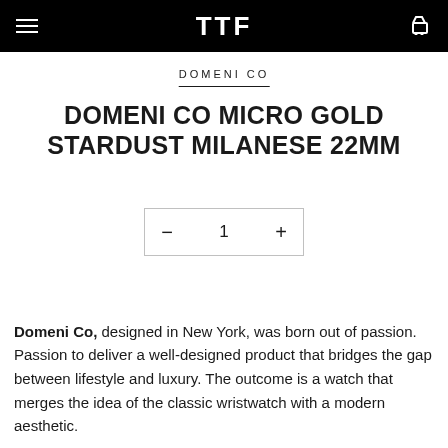TTF (logo) | hamburger menu | cart icon
DOMENI CO
DOMENI CO MICRO GOLD STARDUST MILANESE 22MM
- 1 +
Domeni Co, designed in New York, was born out of passion. Passion to deliver a well-designed product that bridges the gap between lifestyle and luxury. The outcome is a watch that merges the idea of the classic wristwatch with a modern aesthetic.